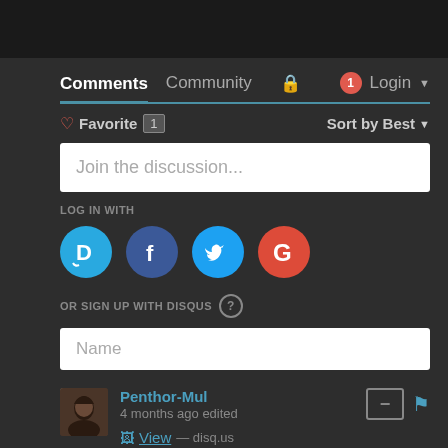Comments  Community  [lock]  1  Login
♡ Favorite 1    Sort by Best ▾
Join the discussion...
LOG IN WITH
[Figure (logo): Social login icons: Disqus (D), Facebook (f), Twitter bird, Google (G)]
OR SIGN UP WITH DISQUS ?
Name
Penthor-Mul
4 months ago edited
View — disq.us
3 ∧ | ∨  Reply